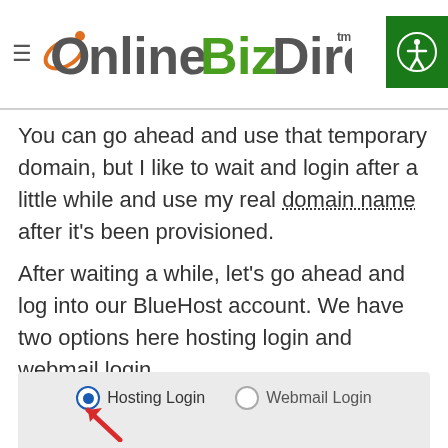Online Biz Direct
You can go ahead and use that temporary domain, but I like to wait and login after a little while and use my real domain name after it’s been provisioned.
After waiting a while, let’s go ahead and log into our BlueHost account. We have two options here hosting login and webmail login.
[Figure (screenshot): Screenshot showing BlueHost login options: Hosting Login (selected with blue radio button) and Webmail Login (unselected), with a red arrow pointing up toward the Hosting Login option.]